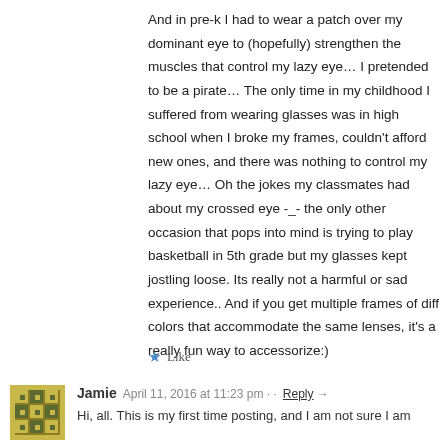And in pre-k I had to wear a patch over my dominant eye to (hopefully) strengthen the muscles that control my lazy eye… I pretended to be a pirate… The only time in my childhood I suffered from wearing glasses was in high school when I broke my frames, couldn't afford new ones, and there was nothing to control my lazy eye… Oh the jokes my classmates had about my crossed eye -_- the only other occasion that pops into mind is trying to play basketball in 5th grade but my glasses kept jostling loose. Its really not a harmful or sad experience.. And if you get multiple frames of diff colors that accommodate the same lenses, it's a really fun way to accessorize:)
★ Like
Jamie  April 11, 2016 at 11:23 pm · · Reply →
Hi, all. This is my first time posting, and I am not sure I am